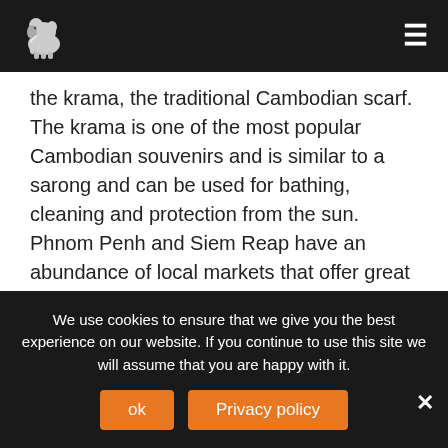Asian Trails [logo] [menu]
the krama, the traditional Cambodian scarf. The krama is one of the most popular Cambodian souvenirs and is similar to a sarong and can be used for bathing, cleaning and protection from the sun. Phnom Penh and Siem Reap have an abundance of local markets that offer great souvenirs. Our Asian Trails guides can offer advice on the best places to buy holiday purchases.
Although the larger cities have supermarkets and gift shops, huge, glitzy shopping malls, like those found in
We use cookies to ensure that we give you the best experience on our website. If you continue to use this site we will assume that you are happy with it.